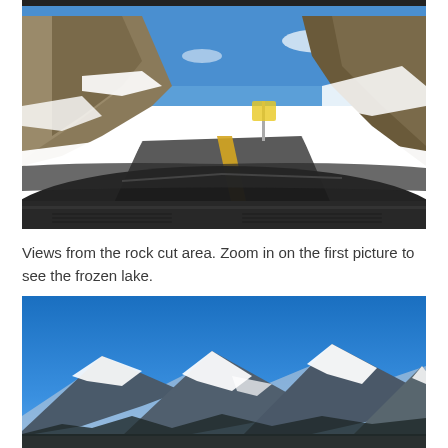[Figure (photo): View from inside a car driving through a rock cut area on a mountain road. Large rock formations on both sides, snow banks lining the road, a winding asphalt road with a yellow center line, blue sky with clouds visible ahead. The car dashboard is visible in the lower portion.]
Views from the rock cut area. Zoom in on the first picture to see the frozen lake.
[Figure (photo): View of snow-capped mountain peaks under a clear blue sky.]